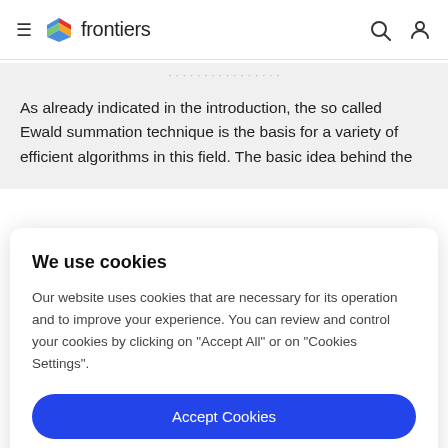frontiers
As already indicated in the introduction, the so called Ewald summation technique is the basis for a variety of efficient algorithms in this field. The basic idea behind the
We use cookies
Our website uses cookies that are necessary for its operation and to improve your experience. You can review and control your cookies by clicking on "Accept All" or on "Cookies Settings".
Accept Cookies
Cookies Settings